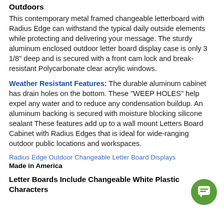Outdoors
This contemporary metal framed changeable letterboard with Radius Edge can withstand the typical daily outside elements while protecting and delivering your message. The sturdy aluminum enclosed outdoor letter board display case is only 3 1/8" deep and is secured with a front cam lock and break-resistant Polycarbonate clear acrylic windows.
Weather Resistant Features: The durable aluminum cabinet has drain holes on the bottom. These "WEEP HOLES" help expel any water and to reduce any condensation buildup. An aluminum backing is secured with moisture blocking silicone sealant These features add up to a wall mount Letters Board Cabinet with Radius Edges that is ideal for wide-ranging outdoor public locations and workspaces.
Radius Edge Outdoor Changeable Letter Board Displays
Made in America
Letter Boards Include Changeable White Plastic Characters